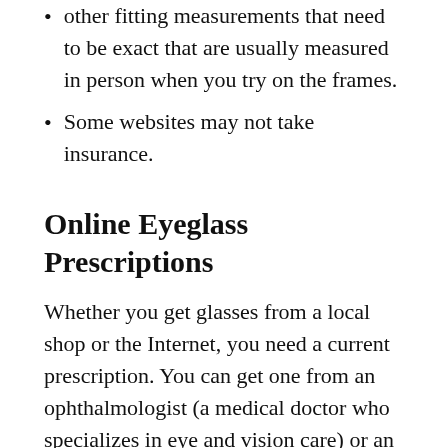other fitting measurements that need to be exact that are usually measured in person when you try on the frames.
Some websites may not take insurance.
Online Eyeglass Prescriptions
Whether you get glasses from a local shop or the Internet, you need a current prescription. You can get one from an ophthalmologist (a medical doctor who specializes in eye and vision care) or an optometrist (a healthcare professional with a degree in optometry). Some websites even let you take an eye test and get your prescription online.